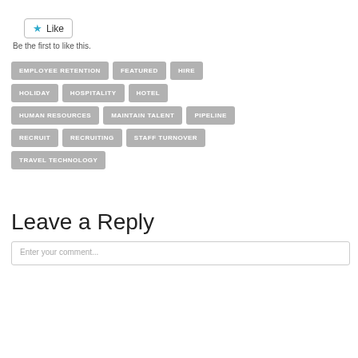[Figure (other): Like button with star icon]
Be the first to like this.
EMPLOYEE RETENTION
FEATURED
HIRE
HOLIDAY
HOSPITALITY
HOTEL
HUMAN RESOURCES
MAINTAIN TALENT
PIPELINE
RECRUIT
RECRUITING
STAFF TURNOVER
TRAVEL TECHNOLOGY
Leave a Reply
Enter your comment...